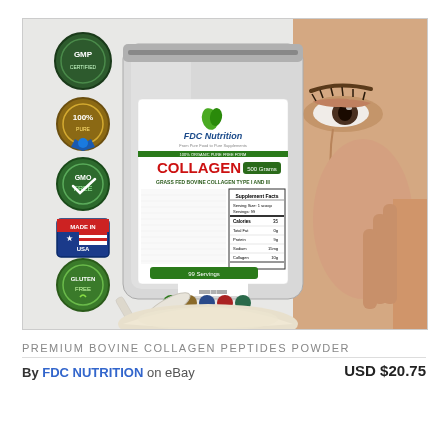[Figure (photo): Product photo of FDC Nutrition Collagen Peptides Powder bag with certification badges (GMP, 100%, GMO Free, Made in USA, Gluten Free), a scoop, collagen powder pile, and a woman's eye/face visible on the right side.]
PREMIUM BOVINE COLLAGEN PEPTIDES POWDER
By FDC NUTRITION on eBay   USD $20.75